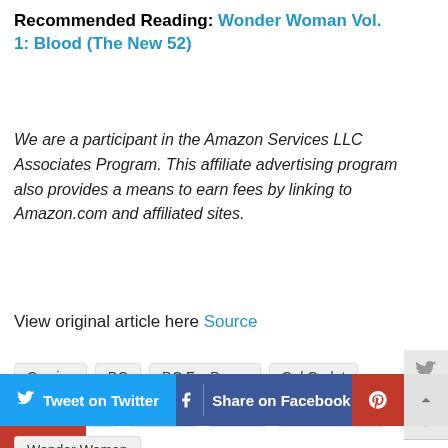Recommended Reading: Wonder Woman Vol. 1: Blood (The New 52)
We are a participant in the Amazon Services LLC Associates Program. This affiliate advertising program also provides a means to earn fees by linking to Amazon.com and affiliated sites.
View original article here Source
Comics
DC
DC FanDome
Gal Gadot
Lynda Carter
Movies
News
Patty Jenkins
Wonder Woman